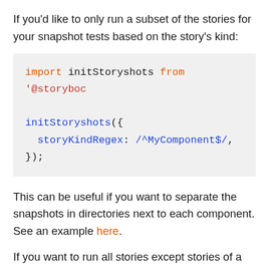If you'd like to only run a subset of the stories for your snapshot tests based on the story's kind:
import initStoryshots from '@storyboc
initStoryshots({
  storyKindRegex: /^MyComponent$/,
});
This can be useful if you want to separate the snapshots in directories next to each component. See an example here.
If you want to run all stories except stories of a specific kind, you can write an inverse regex which is true for all kinds except those with a specific word